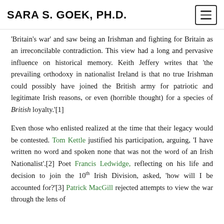SARA S. GOEK, PH.D.
'Britain's war' and saw being an Irishman and fighting for Britain as an irreconcilable contradiction. This view had a long and pervasive influence on historical memory. Keith Jeffery writes that 'the prevailing orthodoxy in nationalist Ireland is that no true Irishman could possibly have joined the British army for patriotic and legitimate Irish reasons, or even (horrible thought) for a species of British loyalty.'[1]

Even those who enlisted realized at the time that their legacy would be contested. Tom Kettle justified his participation, arguing, 'I have written no word and spoken none that was not the word of an Irish Nationalist'.[2] Poet Francis Ledwidge, reflecting on his life and decision to join the 10th Irish Division, asked, 'how will I be accounted for?'[3] Patrick MacGill rejected attempts to view the war through the lens of